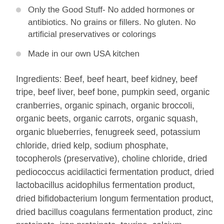Only the Good Stuff- No added hormones or antibiotics. No grains or fillers. No gluten. No artificial preservatives or colorings
Made in our own USA kitchen
Ingredients: Beef, beef heart, beef kidney, beef tripe, beef liver, beef bone, pumpkin seed, organic cranberries, organic spinach, organic broccoli, organic beets, organic carrots, organic squash, organic blueberries, fenugreek seed, potassium chloride, dried kelp, sodium phosphate, tocopherols (preservative), choline chloride, dried pediococcus acidilactici fermentation product, dried lactobacillus acidophilus fermentation product, dried bifidobacterium longum fermentation product, dried bacillus coagulans fermentation product, zinc proteinate, iron proteinate, taurine, calcium carbonate, vitamin E supplement, thiamine mononitrate, copper proteinate, manganese proteinate, sodium selenite, niacin supplement, d-calcium pantothenate, riboflavin supplement, vitamin A supplement, vitamin D3...